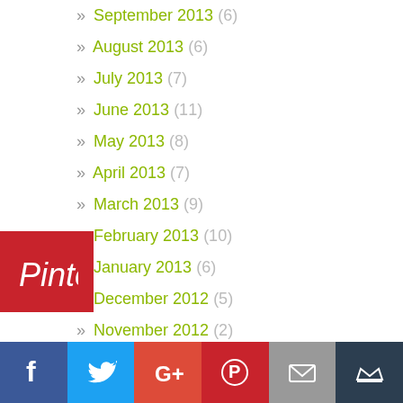» September 2013 (6)
» August 2013 (6)
» July 2013 (7)
» June 2013 (11)
» May 2013 (8)
» April 2013 (7)
» March 2013 (9)
» February 2013 (10)
» January 2013 (6)
» December 2012 (5)
» November 2012 (2)
» October 2012 (2)
» September 2012 (2)
» August 2012 (5)
[Figure (logo): Pinterest share button overlay (red background with Pinterest logo)]
[Figure (infographic): Social media share bar with icons: Facebook (blue), Twitter (light blue), Google+ (red-orange), Pinterest (red), Email (grey), Crown/other (dark blue-grey)]